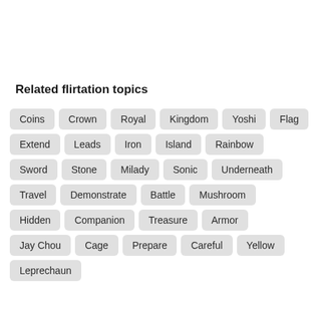Related flirtation topics
Coins
Crown
Royal
Kingdom
Yoshi
Flag
Extend
Leads
Iron
Island
Rainbow
Sword
Stone
Milady
Sonic
Underneath
Travel
Demonstrate
Battle
Mushroom
Hidden
Companion
Treasure
Armor
Jay Chou
Cage
Prepare
Careful
Yellow
Leprechaun